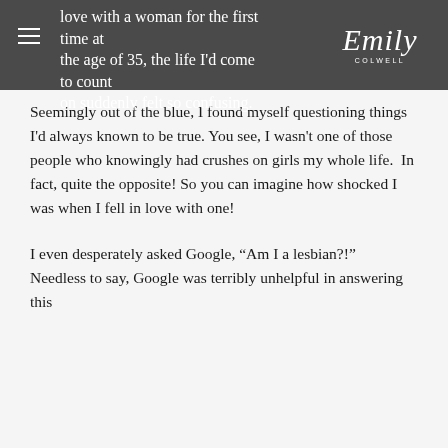[Figure (logo): Emily Colwell script logo in white on dark grey background, with hamburger menu icon on the left]
love with a woman for the first time at the age of 35, the life I'd come to count on suddenly felt so confusing.
Seemingly out of the blue, I found myself questioning things I'd always known to be true. You see, I wasn't one of those people who knowingly had crushes on girls my whole life.  In fact, quite the opposite! So you can imagine how shocked I was when I fell in love with one!
I even desperately asked Google, “Am I a lesbian?!”  Needless to say, Google was terribly unhelpful in answering this